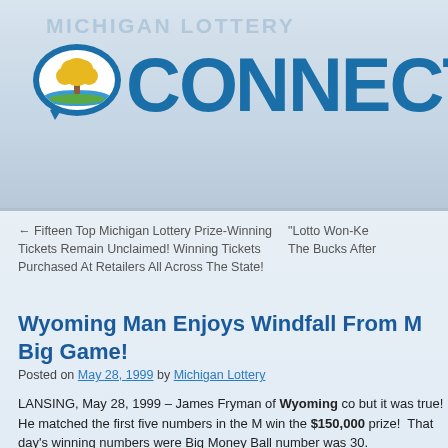[Figure (logo): Michigan Lottery Connect logo with speech bubble containing a tree icon, blue bold text CONNECT with TM mark]
← Fifteen Top Michigan Lottery Prize-Winning Tickets Remain Unclaimed! Winning Tickets Purchased At Retailers All Across The State!
"Lotto Won-Ke The Bucks After
Wyoming Man Enjoys Windfall From M Big Game!
Posted on May 28, 1999 by Michigan Lottery
LANSING, May 28, 1999 – James Fryman of Wyoming co but it was true! He matched the first five numbers in the M win the $150,000 prize!  That day's winning numbers were Big Money Ball number was 30.